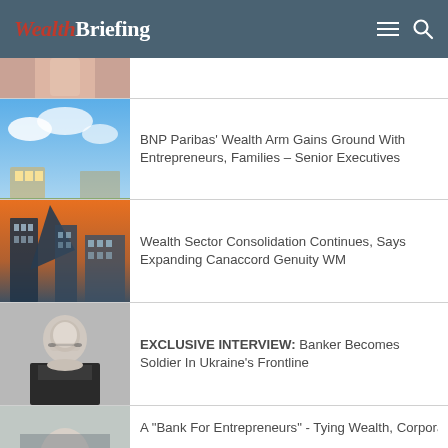WealthBriefing
[Figure (photo): Partial photo of a person in light pink shirt, cropped]
[Figure (photo): Hands exchanging golden envelope against blue sky with clouds]
BNP Paribas' Wealth Arm Gains Ground With Entrepreneurs, Families – Senior Executives
[Figure (photo): City buildings architecture photo with modern and classic buildings]
Wealth Sector Consolidation Continues, Says Expanding Canaccord Genuity WM
[Figure (photo): Portrait of middle-aged man with glasses in formal suit]
EXCLUSIVE INTERVIEW: Banker Becomes Soldier In Ukraine's Frontline
[Figure (photo): Portrait of a person, partially visible]
A "Bank For Entrepreneurs" - Tying Wealth, Corporate Services